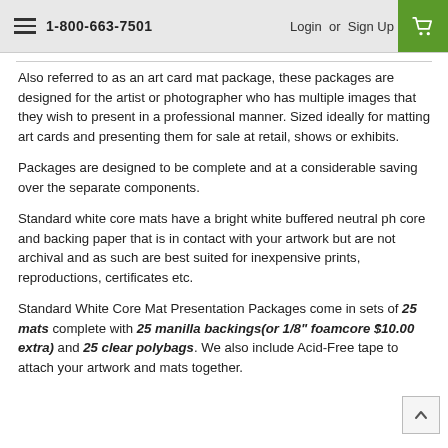1-800-663-7501  Login or Sign Up
Also referred to as an art card mat package, these packages are designed for the artist or photographer who has multiple images that they wish to present in a professional manner. Sized ideally for matting art cards and presenting them for sale at retail, shows or exhibits.
Packages are designed to be complete and at a considerable saving over the separate components.
Standard white core mats have a bright white buffered neutral ph core and backing paper that is in contact with your artwork but are not archival and as such are best suited for inexpensive prints, reproductions, certificates etc.
Standard White Core Mat Presentation Packages come in sets of 25 mats complete with 25 manilla backings(or 1/8" foamcore $10.00 extra) and 25 clear polybags. We also include Acid-Free tape to attach your artwork and mats together.